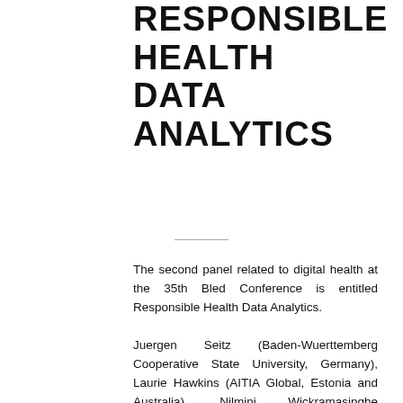RESPONSIBLE HEALTH DATA ANALYTICS
The second panel related to digital health at the 35th Bled Conference is entitled Responsible Health Data Analytics.
Juergen Seitz (Baden-Wuerttemberg Cooperative State University, Germany), Laurie Hawkins (AITIA Global, Estonia and Australia), Nilmini Wickramasinghe (Swinburne University of Technology and Epworth HealthCare, Australia), Doug Vogel (Harbin Institute of Technology, China) and Luuk Simons (Delft University of Technology, Faculty